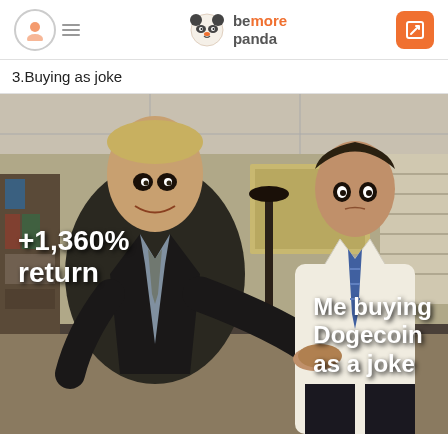bemore panda
3.Buying as joke
[Figure (photo): A meme using a scene from The Office TV show showing two men shaking hands. The man on the left is in a dark suit, the man on the right is in a white shirt with a striped tie. Text on the left reads '+1,360% return' and text on the right reads 'Me buying Dogecoin as a joke'.]